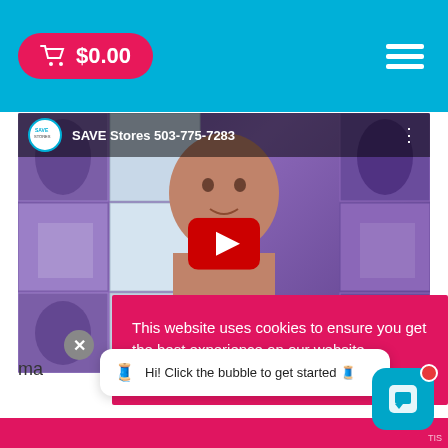$0.00
[Figure (screenshot): YouTube video player showing a person in front of a quilt background with the channel name SAVE Stores 503-775-7283 and YouTube play button overlay]
This website uses cookies to ensure you get the best experience on our website.
Learn more
ma
Hi! Click the bubble to get started 🧵